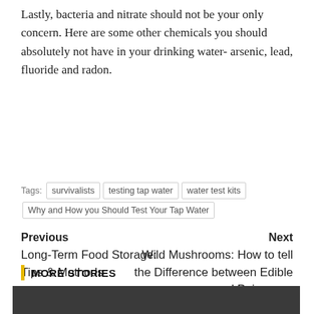Lastly, bacteria and nitrate should not be your only concern. Here are some other chemicals you should absolutely not have in your drinking water- arsenic, lead, fluoride and radon.
Tags: survivalists | testing tap water | water test kits | Why and How you Should Test Your Tap Water
Previous
Long-Term Food Storage: Tips & Methods
Next
Wild Mushrooms: How to tell the Difference between Edible and Poisonous
MORE STORIES
[Figure (photo): Dark gray/black image placeholder at the bottom of the page]